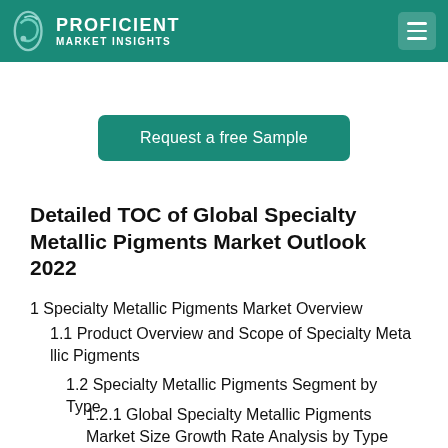PROFICIENT MARKET INSIGHTS
[Figure (other): Request a free Sample button — teal rounded rectangle with white text]
Detailed TOC of Global Specialty Metallic Pigments Market Outlook 2022
1 Specialty Metallic Pigments Market Overview
1.1 Product Overview and Scope of Specialty Metallic Pigments
1.2 Specialty Metallic Pigments Segment by Type
1.2.1 Global Specialty Metallic Pigments Market Size Growth Rate Analysis by Type 2021 VS 2027